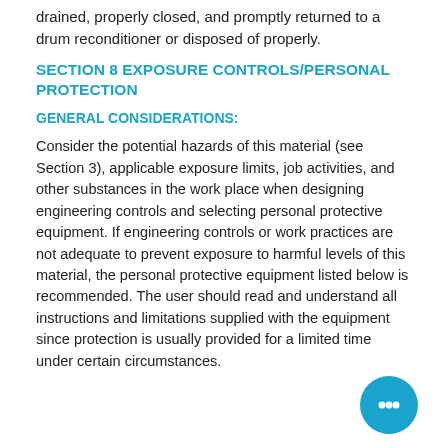drained, properly closed, and promptly returned to a drum reconditioner or disposed of properly.
SECTION 8 EXPOSURE CONTROLS/PERSONAL PROTECTION
GENERAL CONSIDERATIONS:
Consider the potential hazards of this material (see Section 3), applicable exposure limits, job activities, and other substances in the work place when designing engineering controls and selecting personal protective equipment. If engineering controls or work practices are not adequate to prevent exposure to harmful levels of this material, the personal protective equipment listed below is recommended. The user should read and understand all instructions and limitations supplied with the equipment since protection is usually provided for a limited time under certain circumstances.